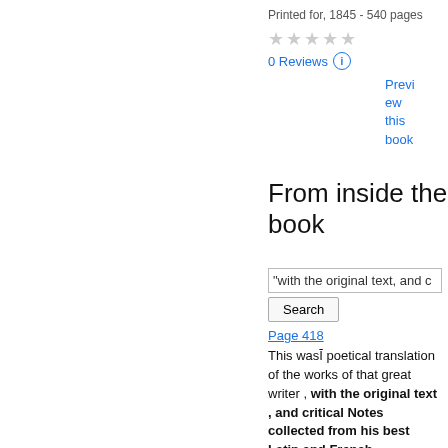Printed for, 1845 - 540 pages
★★★★★ (0 stars)
0 Reviews ⓘ
Preview this book
From inside the book
"with the original text, and c
Search
Page 418
This wasĭa poetical translation of the works of that great writer , with the original text , and critical Notes collected from his best Latin and French Commentators .